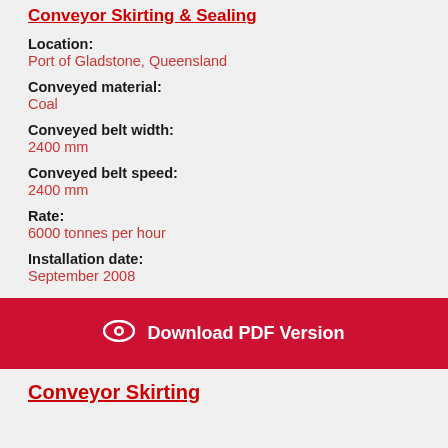Conveyor Skirting & Sealing
Location: Port of Gladstone, Queensland
Conveyed material: Coal
Conveyed belt width: 2400 mm
Conveyed belt speed: 2400 mm
Rate: 6000 tonnes per hour
Installation date: September 2008
Download PDF Version
Conveyor Skirting...